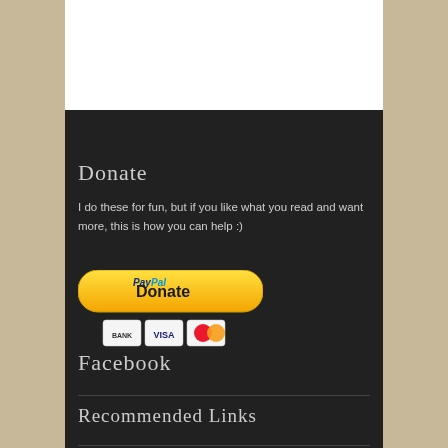[Figure (screenshot): White content area at top of page, partially visible]
Donate
I do these for fun, but if you like what you read and want more, this is how you can help :)
[Figure (illustration): PayPal donate button with BANK, VISA, and MasterCard logos below]
Facebook
Recommended Links
Game Tutorials
GL Programming
Magic Vision Lab